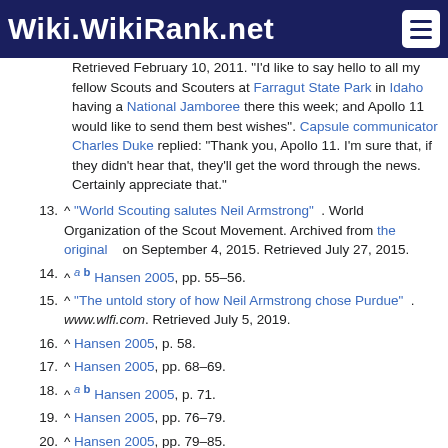Wiki.WikiRank.net
^ a b Hansen 2005, pp. 55–56.
^ "The untold story of how Neil Armstrong chose Purdue" . www.wlfi.com. Retrieved July 5, 2019.
^ Hansen 2005, p. 58.
^ Hansen 2005, pp. 68–69.
^ a b Hansen 2005, p. 71.
^ Hansen 2005, pp. 76–79.
^ Hansen 2005, pp. 79–85.
^ Hansen 2005, p. 90.
^ Hansen 2005, p. 94.
^ Hansen 2005, pp. 92–93.
^ Hansen 2005, pp. 95–96.